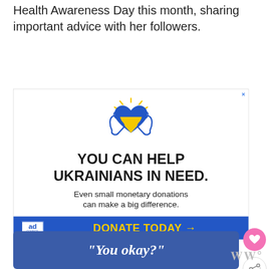Health Awareness Day this month, sharing important advice with her followers.
[Figure (illustration): Ad Council advertisement: Ukrainian flag-colored heart held by two hands with rays of light, headline 'YOU CAN HELP UKRAINIANS IN NEED.' with subtext 'Even small monetary donations can make a big difference.' and blue CTA bar 'DONATE TODAY →']
“You okay?”